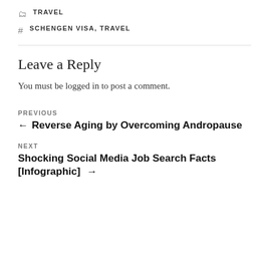TRAVEL
SCHENGEN VISA, TRAVEL
Leave a Reply
You must be logged in to post a comment.
PREVIOUS
← Reverse Aging by Overcoming Andropause
NEXT
Shocking Social Media Job Search Facts [Infographic] →